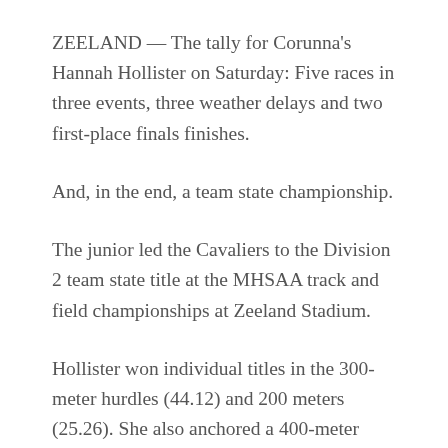ZEELAND — The tally for Corunna's Hannah Hollister on Saturday: Five races in three events, three weather delays and two first-place finals finishes.
And, in the end, a team state championship.
The junior led the Cavaliers to the Division 2 team state title at the MHSAA track and field championships at Zeeland Stadium.
Hollister won individual titles in the 300-meter hurdles (44.12) and 200 meters (25.26). She also anchored a 400-meter relay title in which Corunna (49.56) edged